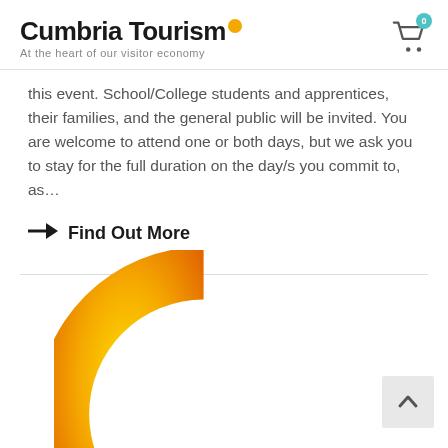Cumbria Tourism | At the heart of our visitor economy
this event. School/College students and apprentices, their families, and the general public will be invited. You are welcome to attend one or both days, but we ask you to stay for the full duration on the day/s you commit to, as…
Find Out More
[Figure (logo): Cumbria Tourism large golden/orange C letter logo at the bottom of the page]